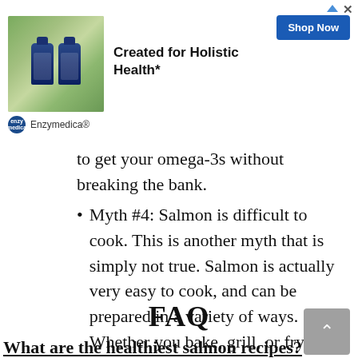[Figure (other): Advertisement banner for Enzymedica. Shows product bottles against green background. Headline: 'Created for Holistic Health*'. Shop Now button. Enzymedica® brand logo.]
to get your omega-3s without breaking the bank.
Myth #4: Salmon is difficult to cook. This is another myth that is simply not true. Salmon is actually very easy to cook, and can be prepared in a variety of ways. Whether you bake, grill, or fry your salmon, it is sure to be delicious.
FAQ
What are the healthiest salmon recipes?